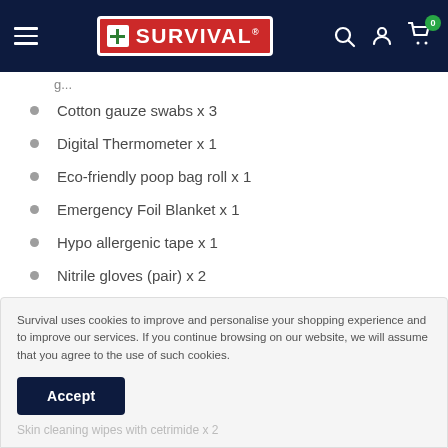SURVIVAL (navigation header with logo, search, account, cart icons)
Cotton gauze swabs x 3
Digital Thermometer x 1
Eco-friendly poop bag roll x 1
Emergency Foil Blanket x 1
Hypo allergenic tape x 1
Nitrile gloves (pair) x 2
Survival uses cookies to improve and personalise your shopping experience and to improve our services. If you continue browsing on our website, we will assume that you agree to the use of such cookies.
Accept
Skin cleaning wipes with cetrimide x 2